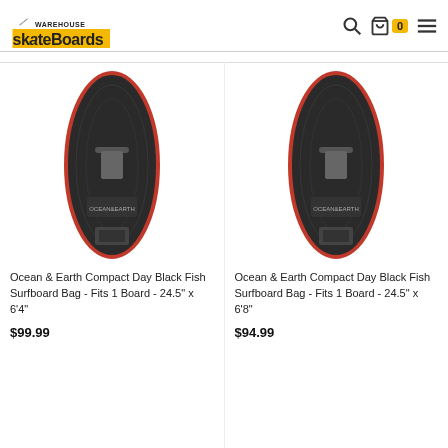Warehouse Skateboards
[Figure (photo): Ocean & Earth Compact Day Black Fish Surfboard Bag - black oval surfboard bag with red trim]
Ocean & Earth Compact Day Black Fish Surfboard Bag - Fits 1 Board - 24.5" x 6'4"
$99.99
[Figure (photo): Ocean & Earth Compact Day Black Fish Surfboard Bag - black oval surfboard bag with red trim]
Ocean & Earth Compact Day Black Fish Surfboard Bag - Fits 1 Board - 24.5" x 6'8"
$94.99